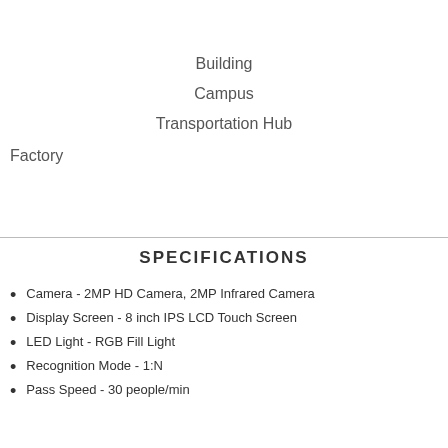Building
Campus
Transportation Hub
Factory
SPECIFICATIONS
Camera - 2MP HD Camera, 2MP Infrared Camera
Display Screen - 8 inch IPS LCD Touch Screen
LED Light - RGB Fill Light
Recognition Mode - 1:N
Pass Speed - 30 people/min